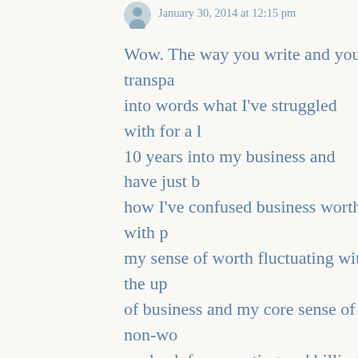January 30, 2014 at 12:15 pm
Wow. The way you write and your transpa into words what I've struggled with for a l 10 years into my business and have just b how I've confused business worth with p my sense of worth fluctuating with the up of business and my core sense of non-wo me back from quoting and billing with ge Also, the misplaced compassion – seeing prospects as some sort of rescue mission donate my time to help put food on their sacrificing my and my family's future on t client's profitability. I'm beginning to see